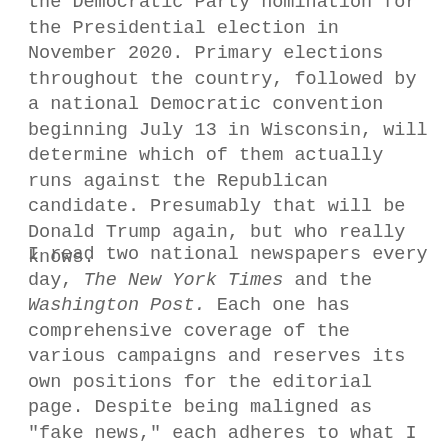the Democratic Party nomination for the Presidential election in November 2020. Primary elections throughout the country, followed by a national Democratic convention beginning July 13 in Wisconsin, will determine which of them actually runs against the Republican candidate. Presumably that will be Donald Trump again, but who really knows.
I read two national newspapers every day, The New York Times and the Washington Post. Each one has comprehensive coverage of the various campaigns and reserves its own positions for the editorial page. Despite being maligned as "fake news," each adheres to what I have known throughout my life as journalistic standards. They are a refreshing change from cable news programs which are designed to